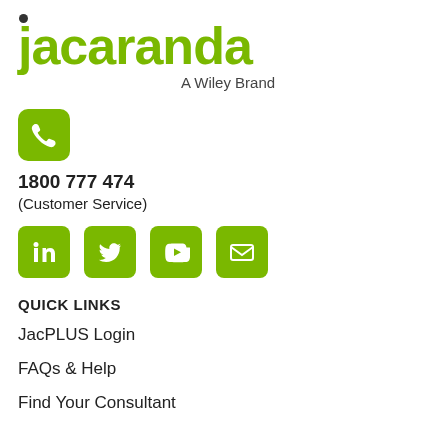[Figure (logo): Jacaranda logo with green text and dot, subtitle 'A Wiley Brand']
[Figure (illustration): Green rounded square phone icon]
1800 777 474
(Customer Service)
[Figure (illustration): Four green social media icons: LinkedIn, Twitter, YouTube, Email]
QUICK LINKS
JacPLUS Login
FAQs & Help
Find Your Consultant